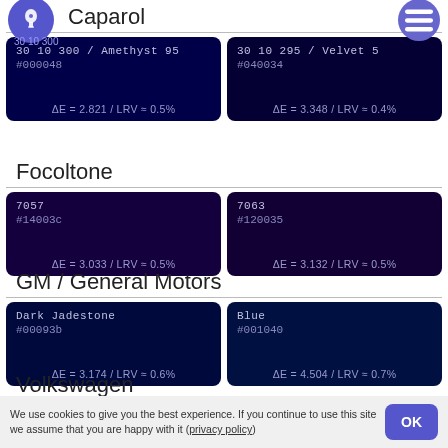Caparol
| Color 1 | Color 2 |
| --- | --- |
| 30 10 300 / Amethyst 95
#000048
ΔE = 2.821 / LRV ≈ 0.5% | 30 10 295 / Velvet 5
#040034
ΔE = 3.348 / LRV ≈ 0.4% |
Focoltone
| Color 1 | Color 2 |
| --- | --- |
| 7057
#14003c
ΔE = 3.033 / LRV ≈ 0.5% | 7063
#120035
ΔE = 3.132 / LRV ≈ 0.5% |
GM / General Motors
| Color 1 | Color 2 |
| --- | --- |
| Dark Jadestone
#00093b
ΔE = 3.174 / LRV ≈ 0.6% | Blue
#001040
ΔE = 4.504 / LRV ≈ 0.7% |
Volkswagen
| Color 1 |
| --- |
| Marine Blue
#00093b |
We use cookies to give you the best experience. If you continue to use this site we assume that you are happy with it (privacy policy)